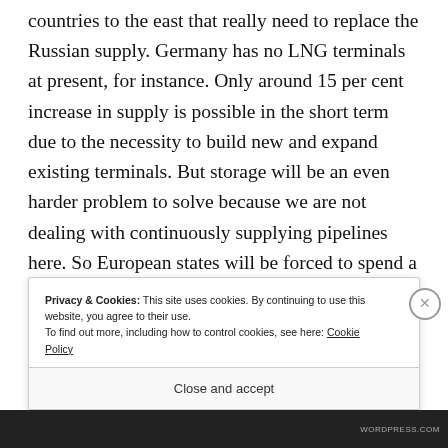countries to the east that really need to replace the Russian supply. Germany has no LNG terminals at present, for instance. Only around 15 per cent increase in supply is possible in the short term due to the necessity to build new and expand existing terminals. But storage will be an even harder problem to solve because we are not dealing with continuously supplying pipelines here. So European states will be forced to spend a huge amount of
Privacy & Cookies: This site uses cookies. By continuing to use this website, you agree to their use.
To find out more, including how to control cookies, see here: Cookie Policy
Close and accept